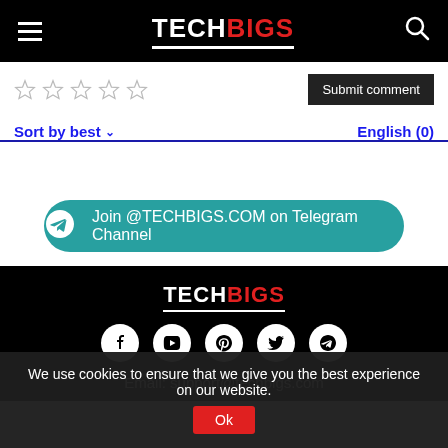TECHBIGS
[Figure (screenshot): Five empty star rating icons in a row, and a dark Submit comment button]
Sort by best ∨    English (0)
[Figure (infographic): Teal rounded button: Join @TECHBIGS.COM on Telegram Channel with Telegram paper-plane icon]
[Figure (logo): TECHBIGS logo in white and red on black footer background, with social media icons (Facebook, YouTube, Pinterest, Twitter, Telegram)]
Email: support@techbigs.com
We use cookies to ensure that we give you the best experience on our website.
Ok